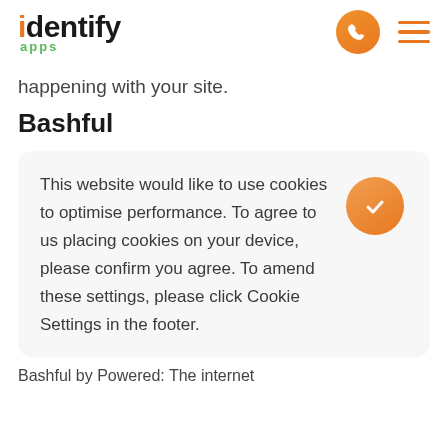identify apps
happening with your site.
Bashful
This website would like to use cookies to optimise performance. To agree to us placing cookies on your device, please confirm you agree. To amend these settings, please click Cookie Settings in the footer.
Bashful by Powered: The internet